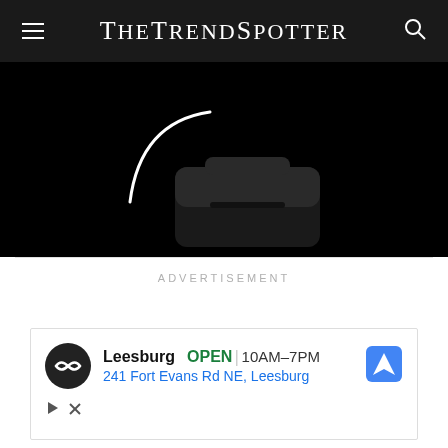TheTrendSpotter
[Figure (photo): Black bag/backpack product photo on dark background, partially visible with a curved white line element]
ADVERTISEMENT
[Figure (screenshot): Google Maps advertisement showing Leesburg store location: OPEN 10AM-7PM, 241 Fort Evans Rd NE, Leesburg, with navigation arrow icon and store logo]